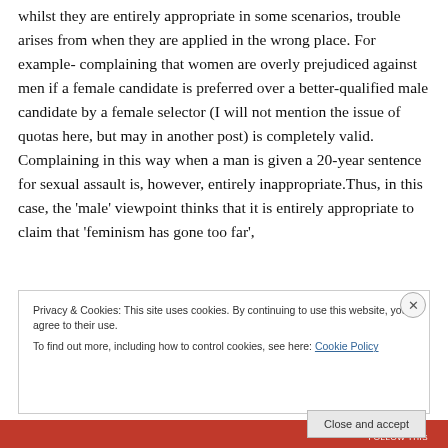whilst they are entirely appropriate in some scenarios, trouble arises from when they are applied in the wrong place. For example- complaining that women are overly prejudiced against men if a female candidate is preferred over a better-qualified male candidate by a female selector (I will not mention the issue of quotas here, but may in another post) is completely valid. Complaining in this way when a man is given a 20-year sentence for sexual assault is, however, entirely inappropriate.Thus, in this case, the 'male' viewpoint thinks that it is entirely appropriate to claim that 'feminism has gone too far',
Privacy & Cookies: This site uses cookies. By continuing to use this website, you agree to their use.
To find out more, including how to control cookies, see here: Cookie Policy
Close and accept